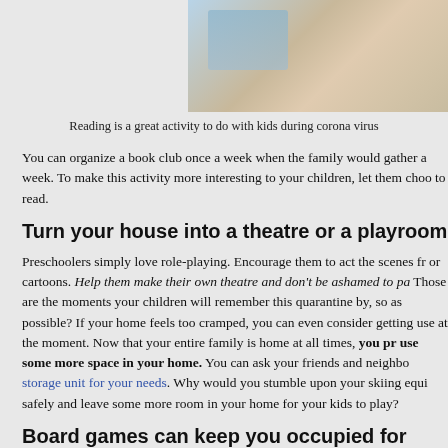[Figure (photo): Photo of a child reading a book, partial view at top of page]
Reading is a great activity to do with kids during corona virus
You can organize a book club once a week when the family would gather a week. To make this activity more interesting to your children, let them choo to read.
Turn your house into a theatre or a playroom
Preschoolers simply love role-playing. Encourage them to act the scenes fr or cartoons. Help them make their own theatre and don't be ashamed to pa Those are the moments your children will remember this quarantine by, so as possible? If your home feels too cramped, you can even consider getting use at the moment. Now that your entire family is home at all times, you pr use some more space in your home. You can ask your friends and neighbo storage unit for your needs. Why would you stumble upon your skiing equi safely and leave some more room in your home for your kids to play?
Board games can keep you occupied for hours
Playing board games is one of the best family bonding activities. People us or during holidays, but this is the perfect opportunity to make every day fee children some of the classics - Monopoly, Snakes and Ladders, Scrabble, et great activities to do with kids during coronavirus quarantine.